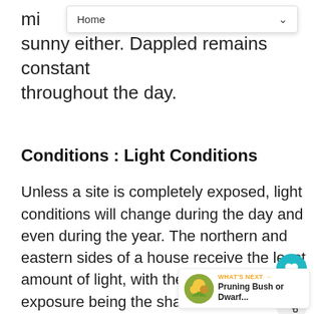mic... sunny either. Dappled remains constant throughout the day.
Conditions : Light Conditions
Unless a site is completely exposed, light conditions will change during the day and even during the year. The northern and eastern sides of a house receive the least amount of light, with the northern exposure being the shadiest. The western and southern sides of a house receive the most light and are considered the hottest exposures due to intense afternoon sun. You will notice that sun and shade patterns...